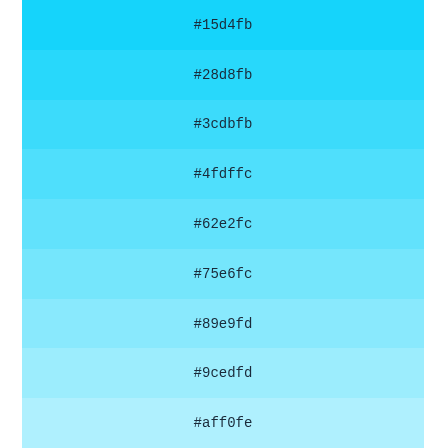#15d4fb
#28d8fb
#3cdbfb
#4fdffc
#62e2fc
#75e6fc
#89e9fd
#9cedfd
#aff0fe